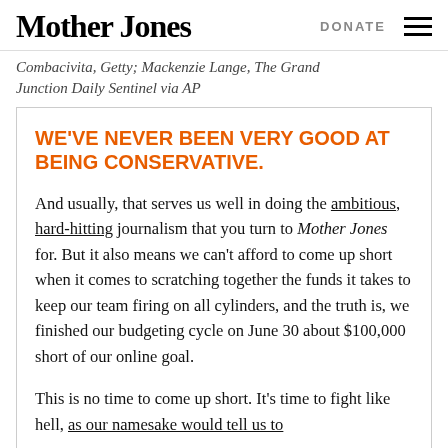Mother Jones | DONATE
Combacivita, Getty; Mackenzie Lange, The Grand Junction Daily Sentinel via AP
WE'VE NEVER BEEN VERY GOOD AT BEING CONSERVATIVE.
And usually, that serves us well in doing the ambitious, hard-hitting journalism that you turn to Mother Jones for. But it also means we can't afford to come up short when it comes to scratching together the funds it takes to keep our team firing on all cylinders, and the truth is, we finished our budgeting cycle on June 30 about $100,000 short of our online goal.
This is no time to come up short. It's time to fight like hell, as our namesake would tell us to do, for a democracy where minority rule cannot